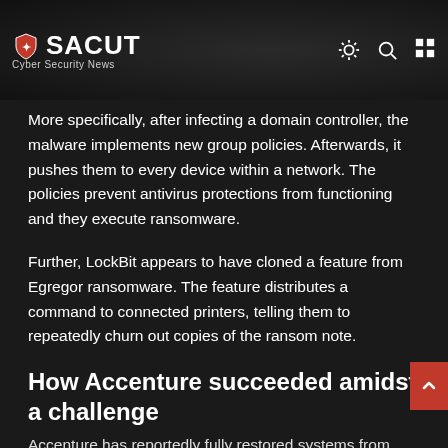SACUT Cyber Security News
More specifically, after infecting a domain controller, the malware implements new group policies. Afterwards, it pushes them to every device within a network. The policies prevent antivirus protections from functioning and they execute ransomware.
Further, LockBit appears to have cloned a feature from Egregor ransomware. The feature distributes a command to connected printers, telling them to repeatedly churn out copies of the ransom note.
How Accenture succeeded amidst a challenge
Accenture has reportedly fully restored systems from